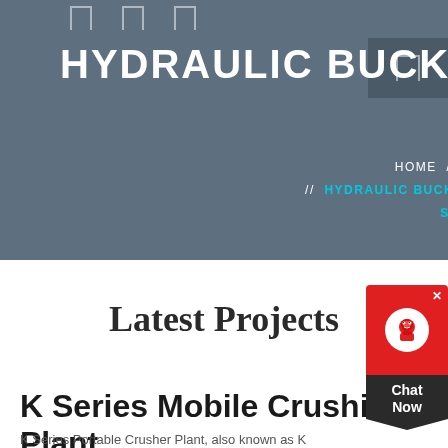HYDRAULIC BUCKET CRUSHER
HOME // PRODUCTS // HYDRAULIC BUCKET CRUSHER FOR SALE - SEARCH
Latest Projects
K Series Mobile Crushing Plant
K Series Portable Crusher Plant, also known as K